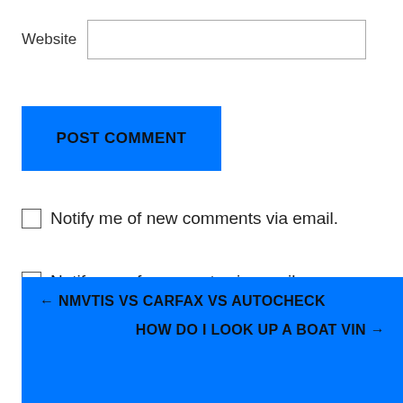Website
Notify me of new comments via email.
Notify me of new posts via email.
← NMVTIS VS CARFAX VS AUTOCHECK
HOW DO I LOOK UP A BOAT VIN →